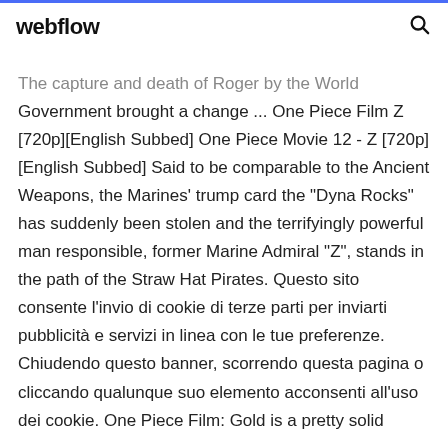webflow
The capture and death of Roger by the World Government brought a change ... One Piece Film Z [720p][English Subbed] One Piece Movie 12 - Z [720p][English Subbed] Said to be comparable to the Ancient Weapons, the Marines' trump card the "Dyna Rocks" has suddenly been stolen and the terrifyingly powerful man responsible, former Marine Admiral "Z", stands in the path of the Straw Hat Pirates. Questo sito consente l'invio di cookie di terze parti per inviarti pubblicità e servizi in linea con le tue preferenze. Chiudendo questo banner, scorrendo questa pagina o cliccando qualunque suo elemento acconsenti all'uso dei cookie. One Piece Film: Gold is a pretty solid